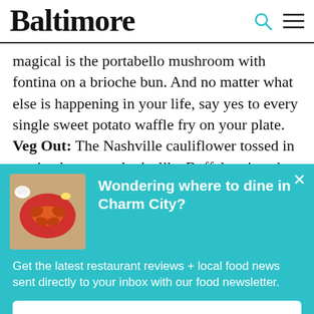Baltimore
magical is the portabello mushroom with fontina on a brioche bun. And no matter what else is happening in your life, say yes to every single sweet potato waffle fry on your plate. Veg Out: The Nashville cauliflower tossed in a spicy hot sauce looks like Buffalo wings but boasts its own flavor profile. We fought over the very
[Figure (infographic): Popup overlay on teal/turquoise background with a food photo of crabs on a red plate, headline 'Wondering where to dine in Charm City?', body text about food newsletter, and a 'SIGN ME UP!' button.]